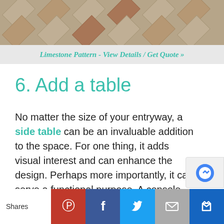[Figure (photo): Overhead view of a limestone tile floor pattern with square and diamond shapes in beige and rust tones]
Limestone Pattern - View Details / Get Quote »
6. Add a table
No matter the size of your entryway, a side table can be an invaluable addition to the space. For one thing, it adds visual interest and can enhance the design. Perhaps more importantly, it can serve a functional purpose. A console table, a sideboard or a similar piece of furniture can be used as a place to set the mail, store your keys, and keep your comings and goings organized.
Shares | Pinterest | Facebook | Twitter | Email | Kingdom